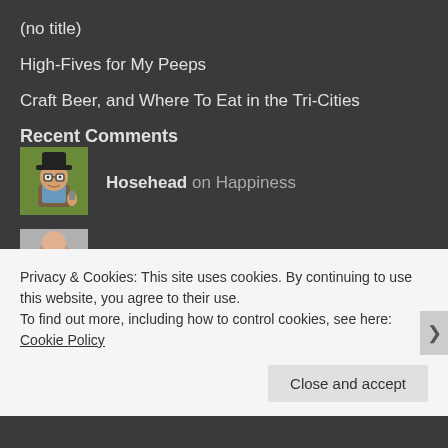(no title)
High-Fives for My Peeps
Craft Beer, and Where To Eat in the Tri-Cities
Recent Comments
Hosehead on Happiness
Privacy & Cookies: This site uses cookies. By continuing to use this website, you agree to their use.
To find out more, including how to control cookies, see here: Cookie Policy
Close and accept